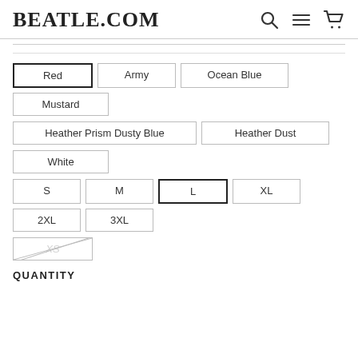BEATLE.COM
Red
Army
Ocean Blue
Mustard
Heather Prism Dusty Blue
Heather Dust
White
S
M
L
XL
2XL
3XL
XS
QUANTITY